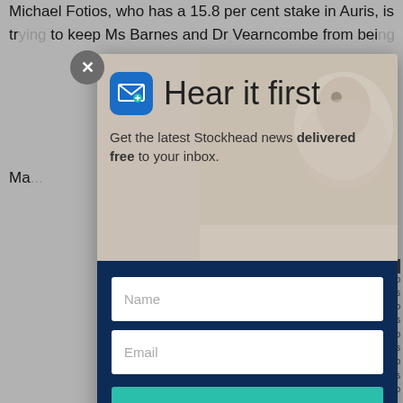Michael Fotios, who has a 15.8 per cent stake in Auris, is trying to keep Ms Barnes and Dr Vearncombe from being
Ma
[Figure (other): Email newsletter subscription modal overlay with hedgehog/groundhog background image. Contains icon, title 'Hear it first', subtitle 'Get the latest Stockhead news delivered free to your inbox.', Name input field, Email input field, and 'SIGN ME UP' button on dark blue background.]
Ir
A s
last
the
vot